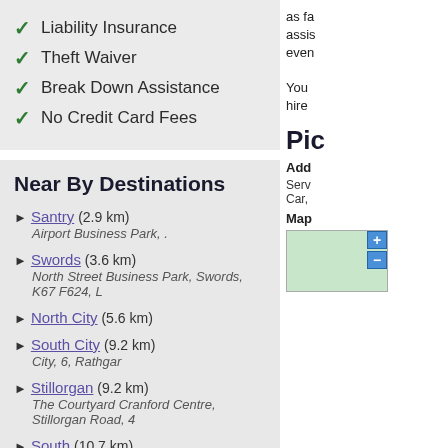✓ Liability Insurance
✓ Theft Waiver
✓ Break Down Assistance
✓ No Credit Card Fees
Near By Destinations
► Santry (2.9 km) — Airport Business Park, .
► Swords (3.6 km) — North Street Business Park, Swords, K67 F624, L
► North City (5.6 km)
► South City (9.2 km) — City, 6, Rathgar
► Stillorgan (9.2 km) — The Courtyard Cranford Centre, Stillorgan Road, 4
► South (10.7 km) — 151 157 South Circular Rd, 8, 000000000
► Terenure (10.9 km) — 151 South Circular Road, 8, Ireland
as fa
assist
even
You
hire
Pic
Add
Serv
Car,
Map